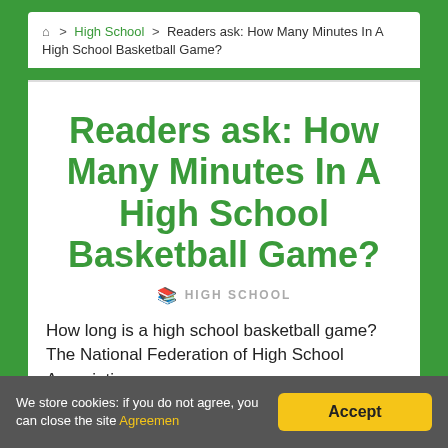🏠 > High School > Readers ask: How Many Minutes In A High School Basketball Game?
Readers ask: How Many Minutes In A High School Basketball Game?
HIGH SCHOOL
How long is a high school basketball game? The National Federation of High School Associations
We store cookies: if you do not agree, you can close the site Agreemen  Accept